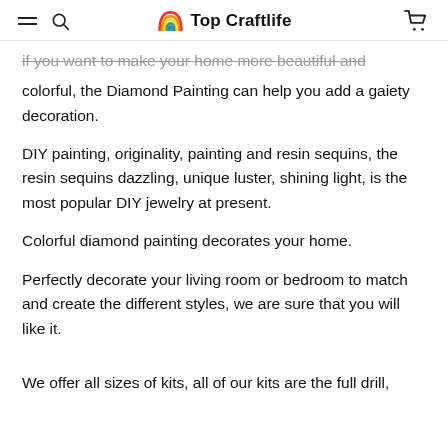Top Craftlife
if you want to make your home more beautiful and colorful, the Diamond Painting can help you add a gaiety decoration.
DIY painting, originality, painting and resin sequins, the resin sequins dazzling, unique luster, shining light, is the most popular DIY jewelry at present.
Colorful diamond painting decorates your home.
Perfectly decorate your living room or bedroom to match and create the different styles, we are sure that you will like it.
We offer all sizes of kits, all of our kits are the full drill,